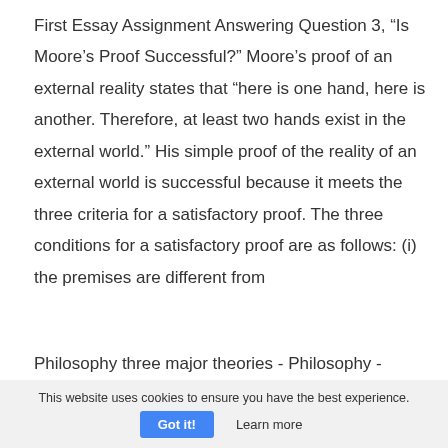First Essay Assignment Answering Question 3, “Is Moore’s Proof Successful?” Moore’s proof of an external reality states that “here is one hand, here is another. Therefore, at least two hands exist in the external world.” His simple proof of the reality of an external world is successful because it meets the three criteria for a satisfactory proof. The three conditions for a satisfactory proof are as follows: (i) the premises are different from
Philosophy three major theories - Philosophy -
This website uses cookies to ensure you have the best experience.
Got it!    Learn more